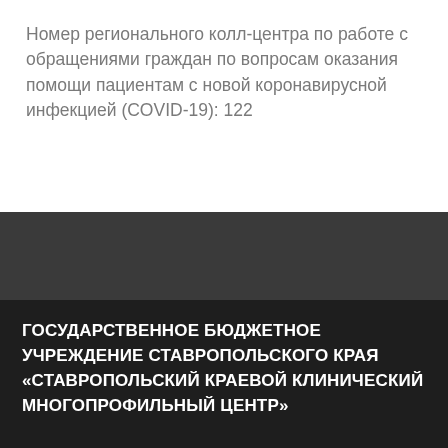Номер регионального колл-центра по работе с обращениями граждан по вопросам оказания помощи пациентам с новой коронавирусной инфекцией (COVID-19): 122
ГОСУДАРСТВЕННОЕ БЮДЖЕТНОЕ УЧРЕЖДЕНИЕ СТАВРОПОЛЬСКОГО КРАЯ «СТАВРОПОЛЬСКИЙ КРАЕВОЙ КЛИНИЧЕСКИЙ МНОГОПРОФИЛЬНЫЙ ЦЕНТР»